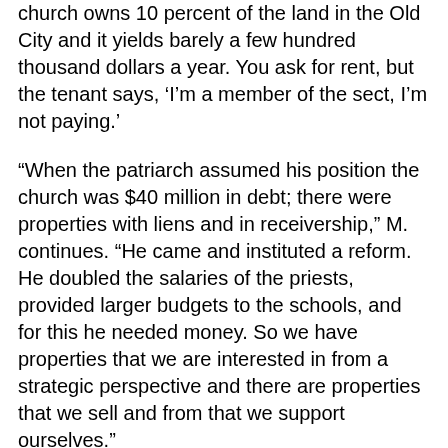church owns 10 percent of the land in the Old City and it yields barely a few hundred thousand dollars a year. You ask for rent, but the tenant says, ‘I’m a member of the sect, I’m not paying.’
“When the patriarch assumed his position the church was $40 million in debt; there were properties with liens and in receivership,” M. continues. “He came and instituted a reform. He doubled the salaries of the priests, provided larger budgets to the schools, and for this he needed money. So we have properties that we are interested in from a strategic perspective and there are properties that we sell and from that we support ourselves.”
“We may own the land, but when you have decades-long leases, it’s an abstract ownership,” he says. “Take the deal in Givat Oranim. When we concluded the transaction, there were still 60 years left on the lease. We got an appraisal and we got a price of $6 million. In the end we sold it for $3.3 million but together with the taxes, which the sellers are paying, we ended up getting almost $5 million, which is certainly a reasonable deal. In the Ramle industrial zone we